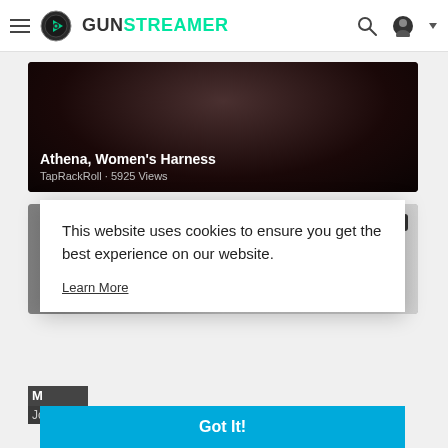GunStreamer
[Figure (screenshot): Video thumbnail for 'Athena, Women's Harness' — dark background video card with title overlay. TapRackRoll · 5925 Views]
Athena, Women's Harness
TapRackRoll · 5925 Views
[Figure (photo): Video thumbnail showing gun muzzle attachments/suppressors on a white surface, dated 30 Mar 2018]
This website uses cookies to ensure you get the best experience on our website.
Learn More
Got It!